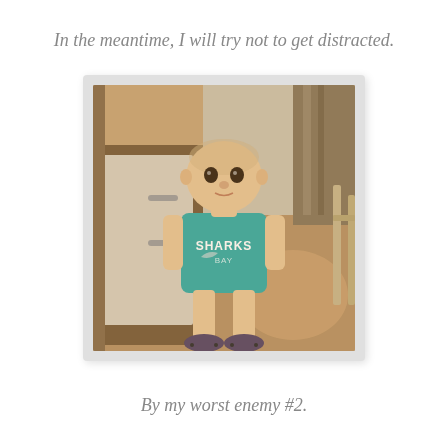In the meantime, I will try not to get distracted.
[Figure (photo): A toddler wearing a teal 'Sharks Bay' t-shirt and oversized adult moccasin slippers, standing in a hallway with white cabinet doors and carpet visible in the background. The photo has a slightly vintage/filtered look.]
By my worst enemy #2.